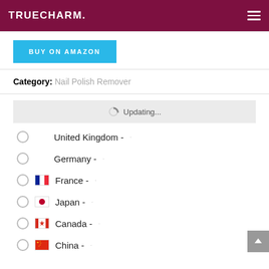TRUECHARM.
BUY ON AMAZON
Category: Nail Polish Remover
Updating...
United Kingdom -
Germany -
France -
Japan -
Canada -
China -